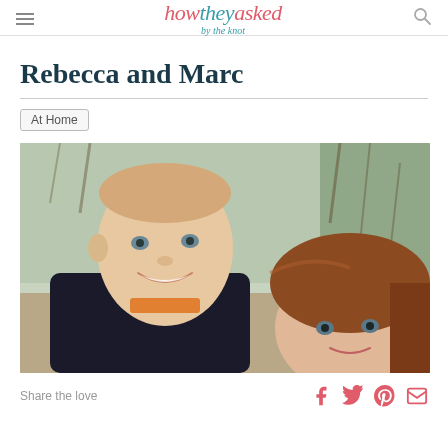how they asked by the knot
Rebecca and Marc
At Home
[Figure (photo): Close-up selfie photo of a couple outdoors with trees in background. Man with short hair on left smiling, woman with brown/auburn hair on right.]
Share the love